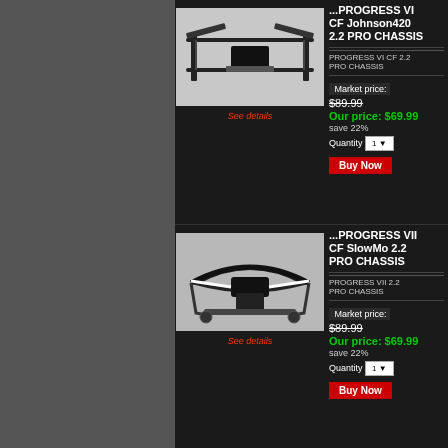...PROGRESS VI CF Johnson420 2.2 PRO CHASSIS
PROGRESS VI CF 2.2 PRO CHASSIS
[Figure (photo): RC car chassis frame - PROGRESS VI CF Johnson420 2.2 PRO CHASSIS, black metal frame components]
See details
Market price: $89.99
Our price: $69.99
save 22%
Quantity 1
Buy Now
...PROGRESS VII CF SlowMo 2.2 PRO CHASSIS
PROGRESS VII 2.2 PRO CHASSIS
[Figure (photo): RC car chassis frame - PROGRESS VII CF SlowMo 2.2 PRO CHASSIS, black metal frame with white accents]
See details
Market price: $89.99
Our price: $69.99
save 22%
Quantity 1
Buy Now